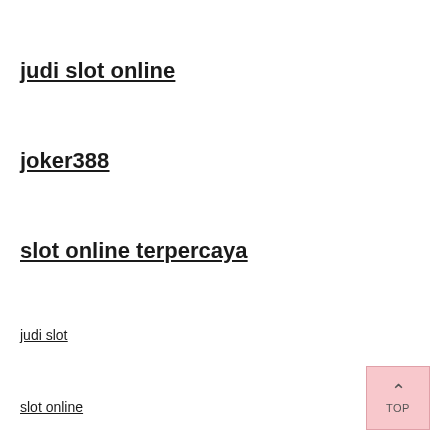judi slot online
joker388
slot online terpercaya
judi slot
slot online